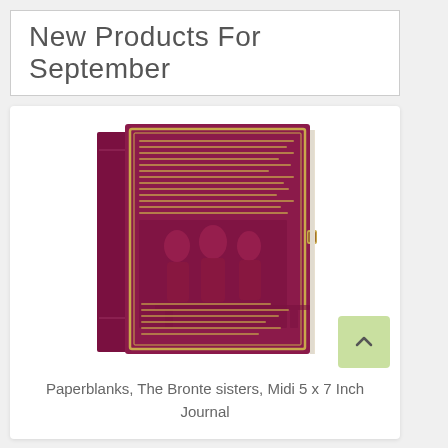New Products For September
[Figure (photo): A Paperblanks journal with deep burgundy/crimson cover featuring gold embossed text and an illustration of The Bronte sisters. The notebook has a gold clasp closure and shows handwritten script text on the cover.]
Paperblanks, The Bronte sisters, Midi 5 x 7 Inch Journal